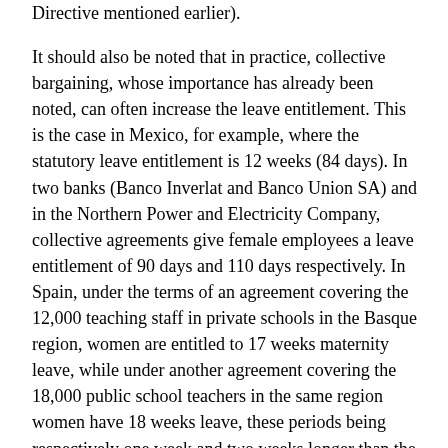Directive mentioned earlier).
It should also be noted that in practice, collective bargaining, whose importance has already been noted, can often increase the leave entitlement. This is the case in Mexico, for example, where the statutory leave entitlement is 12 weeks (84 days). In two banks (Banco Inverlat and Banco Union SA) and in the Northern Power and Electricity Company, collective agreements give female employees a leave entitlement of 90 days and 110 days respectively. In Spain, under the terms of an agreement covering the 12,000 teaching staff in private schools in the Basque region, women are entitled to 17 weeks maternity leave, while under another agreement covering the 18,000 public school teachers in the same region women have 18 weeks leave, these periods being respectively one week and two weeks longer than the statutory entitlement. In Kenya, women employed in the construction industry are entitled to 12 weeks maternity leave, which is almost one month more than the statutory entitlement.6 In the United Kingdom, an inquiry in 1995 into provisions relating to maternity